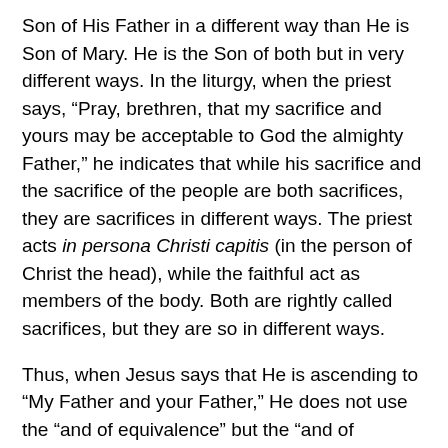Son of His Father in a different way than He is Son of Mary. He is the Son of both but in very different ways. In the liturgy, when the priest says, “Pray, brethren, that my sacrifice and yours may be acceptable to God the almighty Father,” he indicates that while his sacrifice and the sacrifice of the people are both sacrifices, they are sacrifices in different ways. The priest acts in persona Christi capitis (in the person of Christ the head), while the faithful act as members of the body. Both are rightly called sacrifices, but they are so in different ways.
Thus, when Jesus says that He is ascending to “My Father and your Father,” He does not use the “and of equivalence” but the “and of comparison.” As a man, Jesus can speak of God as His Father, but His human nature is hypostatically united to His divine